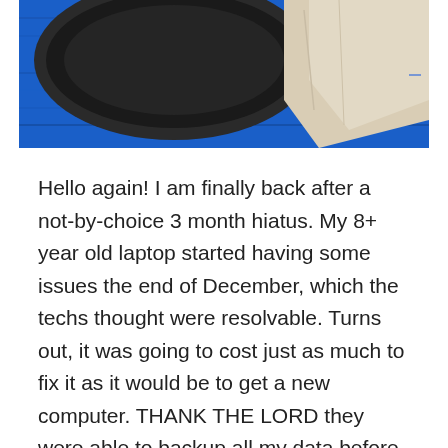[Figure (photo): Overhead photo of a dark circular object (plate or pan) and a light beige folded cloth or paper on a bright blue wooden surface, cropped at top and bottom.]
Hello again! I am finally back after a not-by-choice 3 month hiatus. My 8+ year old laptop started having some issues the end of December, which the techs thought were resolvable. Turns out, it was going to cost just as much to fix it as it would be to get a new computer. THANK THE LORD they were able to backup all my data before the computer went totally bonkers. So, to make a long story short, here I am, on a new computer with all my data. It only took three months to figure out. This day in age, that's a long time to go without a computer. Somehow I survived